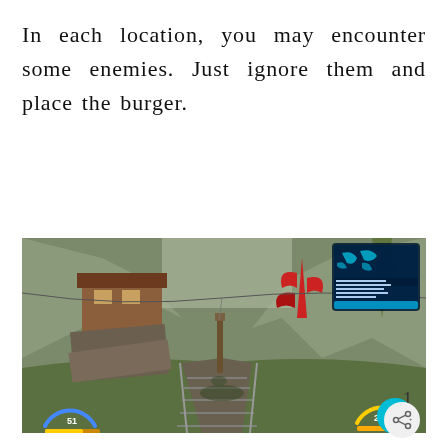In each location, you may encounter some enemies. Just ignore them and place the burger.
[Figure (screenshot): A screenshot from a video game (appears to be Borderlands-style) showing a post-apocalyptic outdoor environment with wooden shack structures, rocky cliffs, green grass, train tracks leading forward, a player character shadow visible, HUD elements including a minimap in the top right, health/shield bars in the bottom left showing '51', ammo counter '200' in the bottom right, and a cyan heart/favorite button in the bottom right corner.]